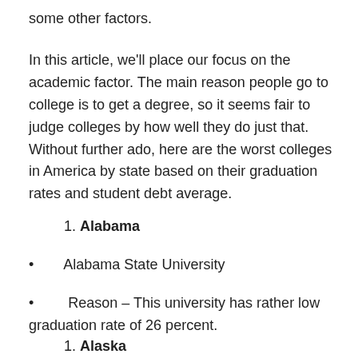some other factors.
In this article, we'll place our focus on the academic factor. The main reason people go to college is to get a degree, so it seems fair to judge colleges by how well they do just that. Without further ado, here are the worst colleges in America by state based on their graduation rates and student debt average.
1. Alabama
Alabama State University
Reason – This university has rather low graduation rate of 26 percent.
1. Alaska